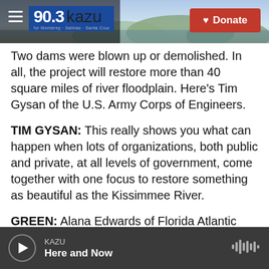90.3 kazu — Donate
Two dams were blown up or demolished. In all, the project will restore more than 40 square miles of river floodplain. Here's Tim Gysan of the U.S. Army Corps of Engineers.
TIM GYSAN: This really shows you what can happen when lots of organizations, both public and private, at all levels of government, come together with one focus to restore something as beautiful as the Kissimmee River.
GREEN: Alana Edwards of Florida Atlantic University was at the ribbon cutting. She remembers the groundbreaking back in the 1990s
KAZU — Here and Now